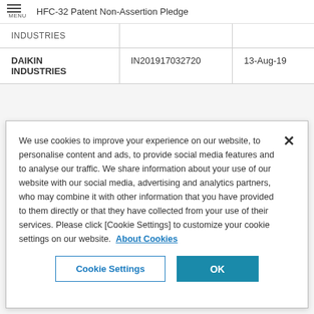HFC-32 Patent Non-Assertion Pledge
| INDUSTRIES |  |  |
| --- | --- | --- |
| DAIKIN INDUSTRIES | IN201917032720 | 13-Aug-19 |
We use cookies to improve your experience on our website, to personalise content and ads, to provide social media features and to analyse our traffic. We share information about your use of our website with our social media, advertising and analytics partners, who may combine it with other information that you have provided to them directly or that they have collected from your use of their services. Please click [Cookie Settings] to customize your cookie settings on our website.  About Cookies
Cookie Settings  OK